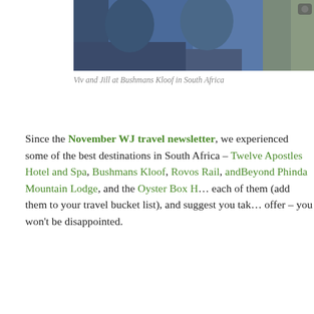[Figure (photo): Photo of Viv and Jill at Bushmans Kloof in South Africa, showing two people in blue jackets]
Viv and Jill at Bushmans Kloof in South Africa
Since the November WJ travel newsletter, we experienced some of the best destinations in South Africa – Twelve Apostles Hotel and Spa, Bushmans Kloof, Rovos Rail, andBeyond Phinda Mountain Lodge, and the Oyster Box Hotel. We loved each of them (add them to your travel bucket list), and suggest you take a look at what they offer – you won't be disappointed.